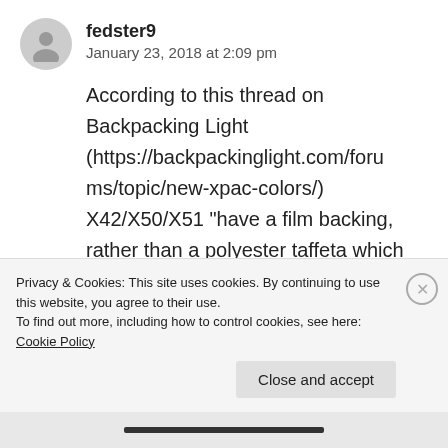fedster9
January 23, 2018 at 2:09 pm
According to this thread on Backpacking Light (https://backpackinglight.com/forums/topic/new-xpac-colors/) X42/X50/X51 “have a film backing, rather than a polyester taffeta which improves seam taping” (I
Privacy & Cookies: This site uses cookies. By continuing to use this website, you agree to their use.
To find out more, including how to control cookies, see here: Cookie Policy